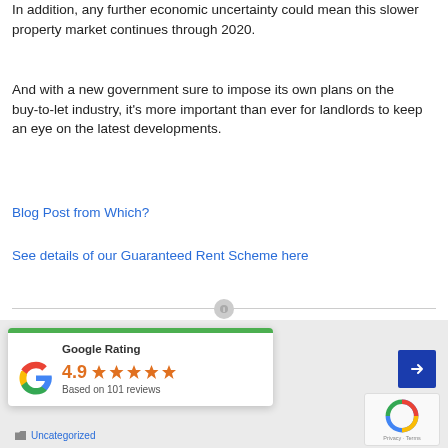In addition, any further economic uncertainty could mean this slower property market continues through 2020.
And with a new government sure to impose its own plans on the buy-to-let industry, it's more important than ever for landlords to keep an eye on the latest developments.
Blog Post from Which?
See details of our Guaranteed Rent Scheme here
[Figure (other): Google Rating widget showing 4.9 stars based on 101 reviews, with Google G logo and green top bar]
Uncategorized